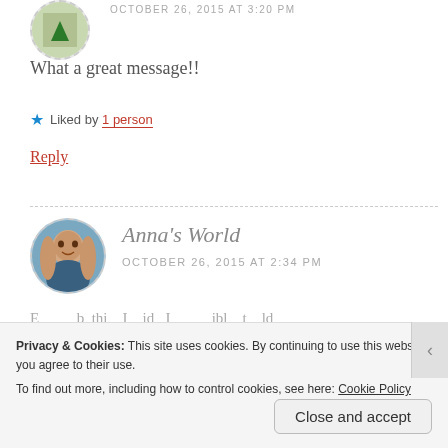OCTOBER 26, 2015 AT 3:20 PM
What a great message!!
Liked by 1 person
Reply
Anna's World
OCTOBER 26, 2015 AT 2:34 PM
Privacy & Cookies: This site uses cookies. By continuing to use this website, you agree to their use. To find out more, including how to control cookies, see here: Cookie Policy
Close and accept